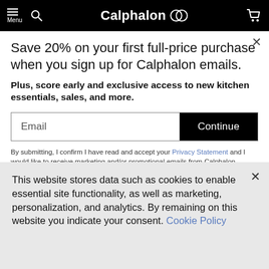Calphalon — Menu, Search, Cart
Save 20% on your first full-price purchase when you sign up for Calphalon emails.
Plus, score early and exclusive access to new kitchen essentials, sales, and more.
Email  Continue
By submitting, I confirm I have read and accept your Privacy Statement and I would like to receive marketing and/or promotional emails from Calphalon.
This website stores data such as cookies to enable essential site functionality, as well as marketing, personalization, and analytics. By remaining on this website you indicate your consent. Cookie Policy